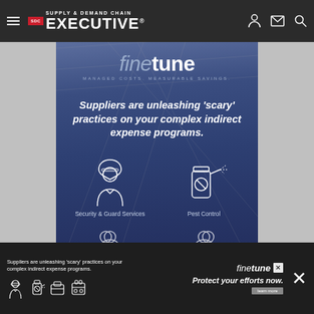Supply & Demand Chain Executive
[Figure (infographic): FineTune advertisement. Blue background with warehouse ceiling. Brand name 'finetune' with tagline 'MANAGED COSTS. MEASURABLE SAVINGS.' Large italic text: "Suppliers are unleashing 'scary' practices on your complex indirect expense programs." Two icons below: Security & Guard Services (guard figure icon) and Pest Control (spray canister icon). Two more icons partially visible at bottom.]
[Figure (infographic): Bottom banner ad for FineTune. Dark background. Text: "Suppliers are unleashing 'scary' practices on your complex indirect expense programs." Four small icons. Brand name 'finetune'. Italic text 'Protect your efforts now.' with a 'learn more' button. Close X button on right.]